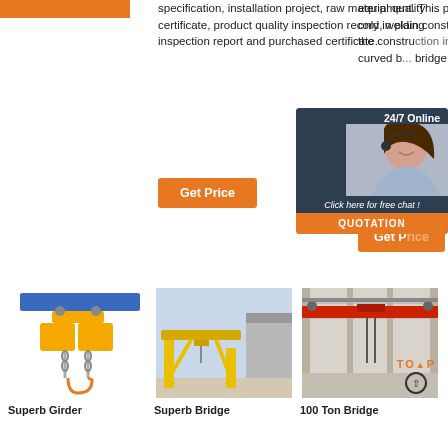[Figure (other): Orange bar/button at top left]
specification, installation project, raw material quality certificate, product quality inspection record, welding inspection report and purchased certificate.
equipment. This product can be used not only in plain construction, but also to meet the construction in mountain, slope, s... curved b... bridge .
[Figure (other): Orange 'Get Price' button (middle column)]
[Figure (other): Orange 'Get P' button (right column, partially hidden)]
[Figure (other): 24/7 Online chat widget with woman photo, 'Click here for free chat!' text and QUOTATION button]
[Figure (photo): Superb Girder product - yellow chain hoist with blue rail]
Superb Girder
[Figure (photo): Superb Bridge product - yellow gantry crane outdoors]
Superb Bridge
[Figure (photo): 100 Ton Bridge product - red overhead bridge crane inside industrial building, with TOP arrow overlay]
100 Ton Bridge